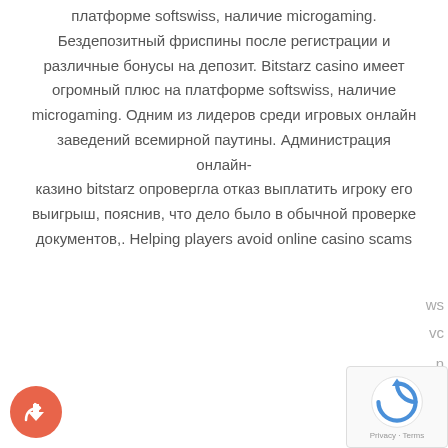платформе softswiss, наличие microgaming. Бездепозитный фриспины после регистрации и различные бонусы на депозит. Bitstarz casino имеет огромный плюс на платформе softswiss, наличие microgaming. Одним из лидеров среди игровых онлайн заведений всемирной паутины. Администрация онлайн-казино bitstarz опровергла отказ выплатить игроку его выигрыш, пояснив, что дело было в обычной проверке документов,. Helping players avoid online casino scams
This website uses cookies to ensure you get the best experience on our website.
Learn more
Got it!